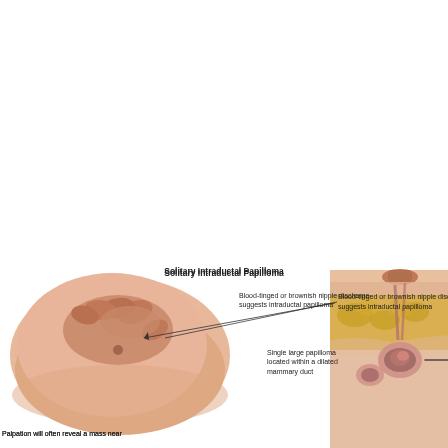[Figure (illustration): Medical illustration of Solitary Intraductal Papilloma. Left side shows a hand palpating a breast with an arrow pointing to the nipple area labeled 'Blood-tinged or brownish nipple discharge suggests intraductal papilloma'. Right side shows a cross-sectional anatomical diagram of a breast duct with an arrow pointing to a dilated duct labeled 'Single large papilloma located within a dilated mammary duct'. Below the breast palpation image is partial text: 'Palpation will often reveal a mass near'.]
Solitary Intraductal Papilloma
Blood-tinged or brownish nipple discharge suggests intraductal papilloma
Single large papilloma located within a dilated mammary duct
Palpation will often reveal a mass near